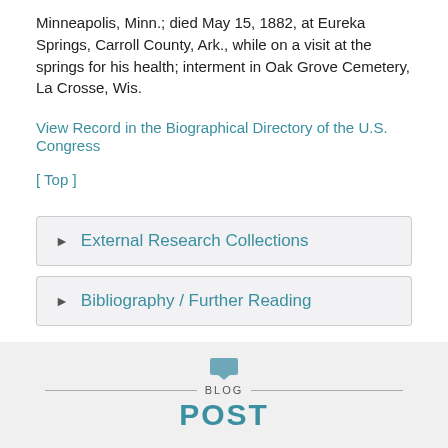Minneapolis, Minn.; died May 15, 1882, at Eureka Springs, Carroll County, Ark., while on a visit at the springs for his health; interment in Oak Grove Cemetery, La Crosse, Wis.
View Record in the Biographical Directory of the U.S. Congress
[ Top ]
External Research Collections
Bibliography / Further Reading
BLOG POST
February 6, 2014
I've Scalped Him?